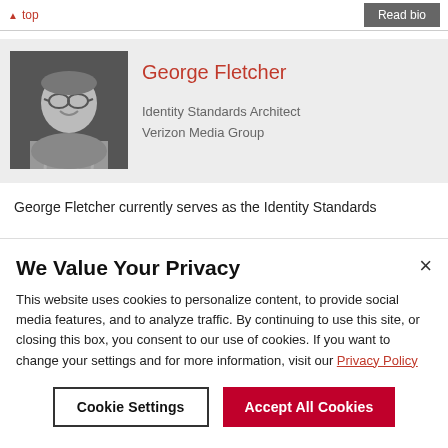↑ top | Read bio
[Figure (photo): Black and white headshot photo of George Fletcher, a middle-aged man wearing glasses and a plaid shirt]
George Fletcher
Identity Standards Architect
Verizon Media Group
George Fletcher currently serves as the Identity Standards
We Value Your Privacy
This website uses cookies to personalize content, to provide social media features, and to analyze traffic. By continuing to use this site, or closing this box, you consent to our use of cookies. If you want to change your settings and for more information, visit our Privacy Policy